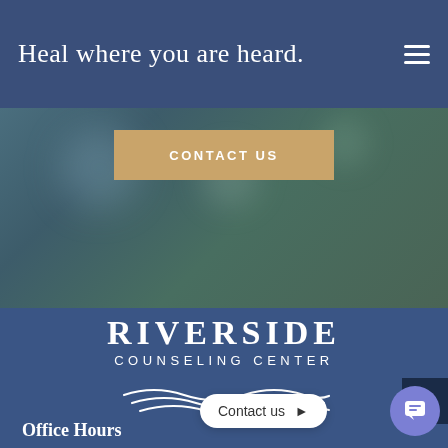Heal where you are heard.
[Figure (screenshot): Website screenshot showing Riverside Counseling Center homepage with nav bar, contact us button, logo, wave graphic, and office hours section]
CONTACT US
RIVERSIDE COUNSELING CENTER
Office Hours
Contact us